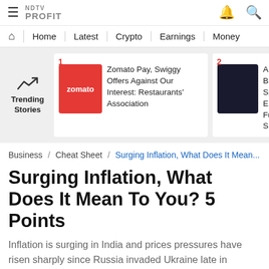NDTV Profit logo, hamburger menu, bell and search icons
Home | Latest | Crypto | Earnings | Money
Trending Stories
1 Zomato Pay, Swiggy Offers Against Our Interest: Restaurants' Association
2 A $48 Bi... Spree E... Funds S...
Business / Cheat Sheet / Surging Inflation, What Does It Mean...
Surging Inflation, What Does It Mean To You? 5 Points
Inflation is surging in India and prices pressures have risen sharply since Russia invaded Ukraine late in February. What does this mean to you?